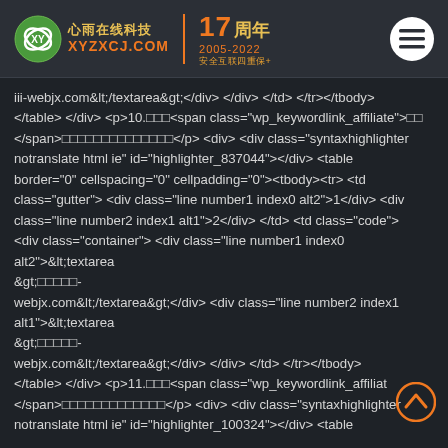心雨在线科技 xyzxcj.com 17周年 2005-2022 安全互联四重保+
iii-webjx.com&lt;/textarea&gt;</div> </div> </td> </tr></tbody> </table> </div> <p>10.□□□<span class="wp_keywordlink_affiliate">□□</span>□□□□□□□□□□□□□□</p> <div> <div class="syntaxhighlighter notranslate html ie" id="highlighter_837044"></div> <table border="0" cellspacing="0" cellpadding="0"><tbody><tr> <td class="gutter"> <div class="line number1 index0 alt2">1</div> <div class="line number2 index1 alt1">2</div> </td> <td class="code"> <div class="container"> <div class="line number1 index0 alt2">&lt;textarea onkeydown="if(event.keyCode==13)event.keyCode=9"&gt;□□□□□-webjx.com&lt;/textarea&gt;</div> <div class="line number2 index1 alt1">&lt;textarea onkeydown="if(event.keyCode==13)event.keyCode=9"&gt;□□□□□-webjx.com&lt;/textarea&gt;</div> </div> </td> </tr></tbody> </table> </div> <p>11.□□□<span class="wp_keywordlink_affiliate">□</span></span>□□□□□□□□□□□□□</p> <div> <div class="syntaxhighlighter notranslate html ie" id="highlighter_100324"></div> <table